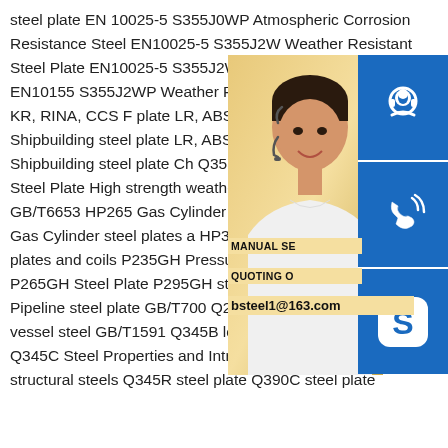steel plate EN 10025-5 S355J0WP Atmospheric Corrosion Resistance Steel EN10025-5 S355J2W Weather Resistant Steel Plate EN10025-5 S355J2WP Atmosphere Steel EN10155 S355J2WP Weather Resis ABS, NK, GL, DNV, BV, KR, RINA, CCS F plate LR, ABS, NK, GL, DNV, BV, KR, RIN Shipbuilding steel plate LR, ABS, NK, GL, CCS BV FH40 Shipbuilding steel plate Ch Q355GNH Weather Resistant Steel Plate High strength weathering Steel Plate Gas GB/T6653 HP265 Gas Cylinder steel plate HP295 Welded Gas Cylinder steel plates a HP325 Welded Gas Cylinder steel plates and coils P235GH Pressure Vessel Steel Plate P265GH Steel Plate P295GH steel plate P355GH Steel Plate Pipeline steel plate GB/T700 Q235B Steel Q245R Pressure vessel steel GB/T1591 Q345B low alloy structural steel Q345C Steel Properties and Introduction GB/T1591 Q345D structural steels Q345R steel plate Q390C steel plate
[Figure (photo): Customer service representative (young Asian woman with headset) on a warm yellow/golden background, overlaid with three blue icon blocks: a customer service/headset icon, a phone/call icon, and a Skype icon. Yellow overlay text shows 'MANUAL SE', 'QUOTING O', and 'bsteel1@163.com'.]